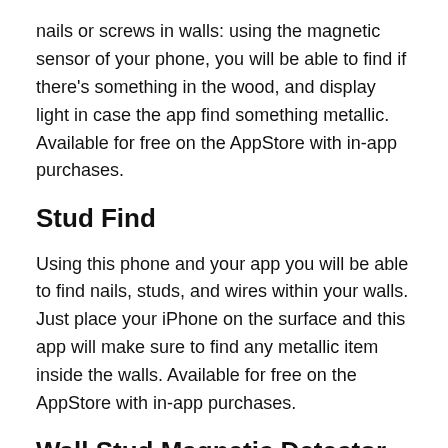nails or screws in walls: using the magnetic sensor of your phone, you will be able to find if there's something in the wood, and display light in case the app find something metallic. Available for free on the AppStore with in-app purchases.
Stud Find
Using this phone and your app you will be able to find nails, studs, and wires within your walls. Just place your iPhone on the surface and this app will make sure to find any metallic item inside the walls. Available for free on the AppStore with in-app purchases.
Wall Stud Magnetic Detector (Metal finder for Studs & Wires)
Wall Stud Magnetic Detector by Gregorio Bello can be